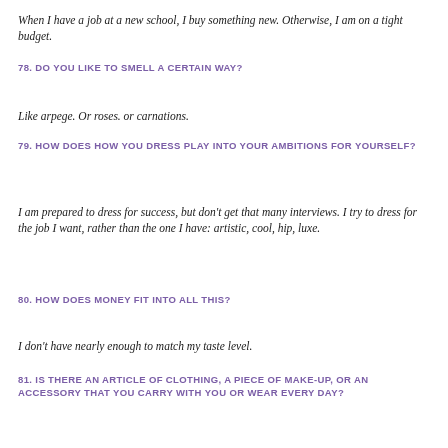When I have a job at a new school, I buy something new. Otherwise, I am on a tight budget.
78. DO YOU LIKE TO SMELL A CERTAIN WAY?
Like arpege. Or roses. or carnations.
79. HOW DOES HOW YOU DRESS PLAY INTO YOUR AMBITIONS FOR YOURSELF?
I am prepared to dress for success, but don’t get that many interviews. I try to dress for the job I want, rather than the one I have: artistic, cool, hip, luxe.
80. HOW DOES MONEY FIT INTO ALL THIS?
I don’t have nearly enough to match my taste level.
81. IS THERE AN ARTICLE OF CLOTHING, A PIECE OF MAKE-UP, OR AN ACCESSORY THAT YOU CARRY WITH YOU OR WEAR EVERY DAY?